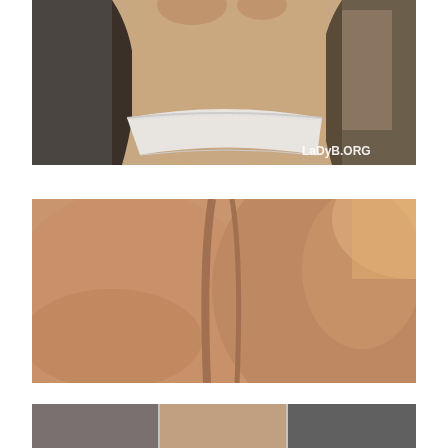[Figure (photo): Photo of a person from behind wearing white lace underwear, with watermark text 'LaDyB.ORG' in lower right corner]
[Figure (photo): Close-up photo of skin/body from behind, warm skin tones, blurred background with light source]
[Figure (photo): Partial photo visible at bottom edge of page, appears to be multiple images in a row]